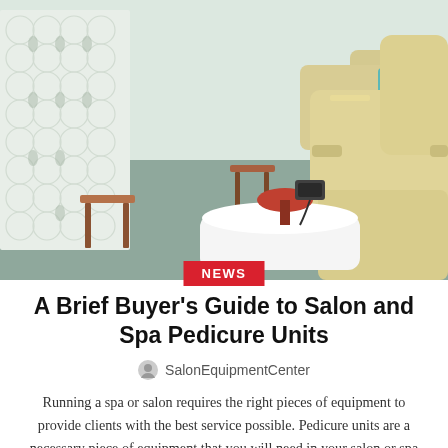[Figure (photo): Interior of a nail salon or spa showing a row of cream/beige pedicure massage chairs with white foot basins, wooden stools, and a decorative white patterned room divider screen. The floor appears to be a blue-grey color.]
NEWS
A Brief Buyer's Guide to Salon and Spa Pedicure Units
SalonEquipmentCenter
Running a spa or salon requires the right pieces of equipment to provide clients with the best service possible. Pedicure units are a necessary piece of equipment that you will need in your salon or spa space. Here is a brief buyer's guide to salon and spa pedicure units to help you make the right choice for your